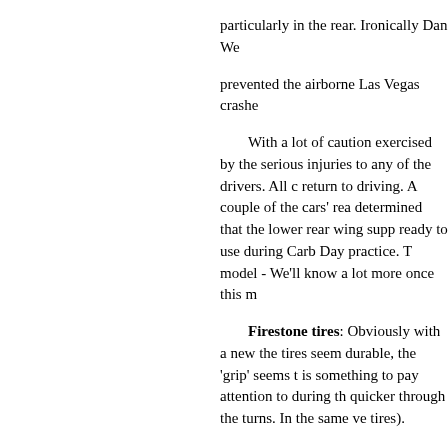particularly in the rear. Ironically Dan We... prevented the airborne Las Vegas crashe...
With a lot of caution exercised by the... serious injuries to any of the drivers. All c... return to driving. A couple of the cars' rea... determined that the lower rear wing supp... ready to use during Carb Day practice. T... model - We'll know a lot more once this m...
Firestone tires: Obviously with a new... the tires seem durable, the 'grip' seems t... is something to pay attention to during th... quicker through the turns. In the same ve... tires).
Honda versus Chevrolet versus Lot... top ten qualifiers for this 500 including th... redesigned turbocharger cover which wa... qualifying. The Honda teams seem to be... race could be very competitive.
We'll get some indication during the 1... with very little data since this is only the 5... limited due to mileage limits on the engir...
Lotus seems to be hopelessly behind... later than Chevy and Honda and it seem... engines available have been very small.... reluctantly agreed to supply several mor... Silverstro and Jean Alesi - and they are s... competitive (they hope).
Pole by 9 inches: Penske's Ryan Bris... the now Go Daddy driver, James Hinche...